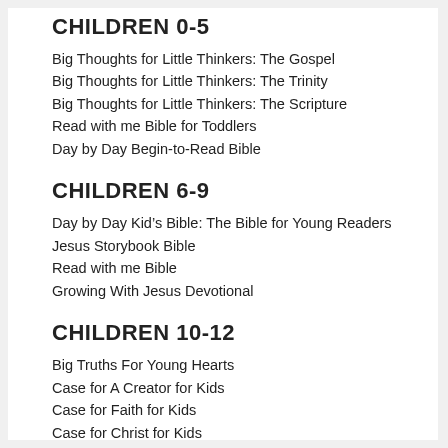CHILDREN 0-5
Big Thoughts for Little Thinkers: The Gospel
Big Thoughts for Little Thinkers: The Trinity
Big Thoughts for Little Thinkers: The Scripture
Read with me Bible for Toddlers
Day by Day Begin-to-Read Bible
CHILDREN 6-9
Day by Day Kid’s Bible: The Bible for Young Readers
Jesus Storybook Bible
Read with me Bible
Growing With Jesus Devotional
CHILDREN 10-12
Big Truths For Young Hearts
Case for A Creator for Kids
Case for Faith for Kids
Case for Christ for Kids